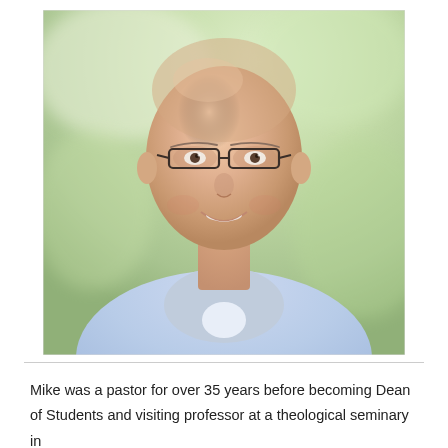[Figure (photo): Headshot portrait of a middle-aged bald man with glasses, wearing a light blue collared shirt, smiling, with a blurred green outdoor background.]
Mike was a pastor for over 35 years before becoming Dean of Students and visiting professor at a theological seminary in